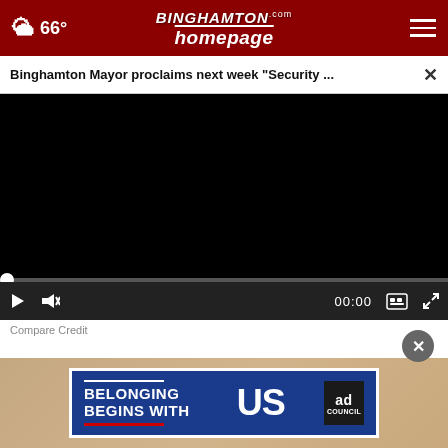66° | Binghamton homepage .com
Binghamton Mayor proclaims next week "Security ...
[Figure (screenshot): Black video player area - no content loaded]
00:00
Compare Credit
[Figure (infographic): Ad banner: BELONGING BEGINS WITH US - Ad Council, blue background with white text and red underline]